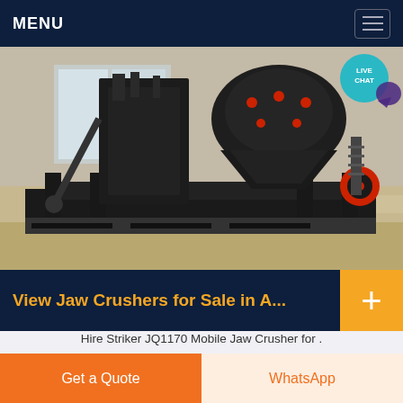MENU
[Figure (photo): Industrial cone/jaw crusher machine in a warehouse/factory setting. Large heavy black metal machinery with red accents on a concrete floor.]
View Jaw Crushers for Sale in A...
Hire Striker JQ1170 Mobile Jaw Crusher for . HOPPER Capacity 7m3 10m3 9yd3 13yd3 CRUSHER Size 1070mm x 740mm 42 x 29
Get a Quote
WhatsApp